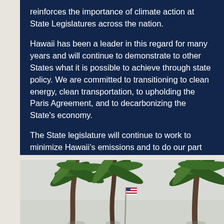reinforces the importance of climate action at State Legislatures across the nation.

Hawaii has been a leader in this regard for many years and will continue to demonstrate to other States what it is possible to achieve through state policy. We are committed to transitioning to clean energy, clean transportation, to upholding the Paris Agreement, and to decarbonizing the State's economy.

The State legislature will continue to work to minimize Hawaii's emissions and to do our part for the planet and for the next generation."
[Figure (photo): Outdoor photo showing palm trees against a light sky, with what appears to be a flag visible among the trees.]